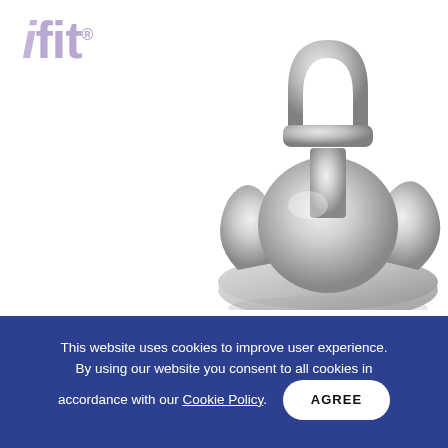[Figure (logo): iFit logo in light purple text]
[Figure (photo): 3D silver metallic trophy or device stand product image]
Share this on:
[Figure (infographic): Social sharing icons: Facebook, Twitter, Google+, LinkedIn, Pinterest, Email — all in blue circles]
This website uses cookies to improve user experience. By using our website you consent to all cookies in accordance with our Cookie Policy. AGREE